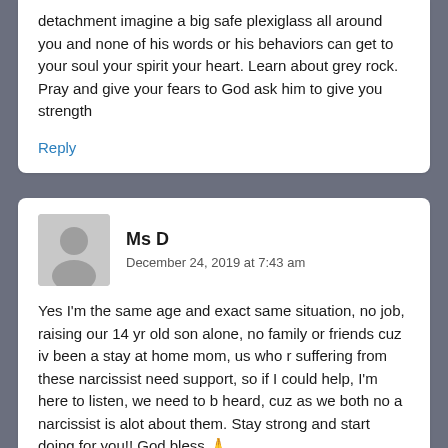detachment imagine a big safe plexiglass all around you and none of his words or his behaviors can get to your soul your spirit your heart. Learn about grey rock. Pray and give your fears to God ask him to give you strength
Reply
Ms D
December 24, 2019 at 7:43 am
Yes I'm the same age and exact same situation, no job, raising our 14 yr old son alone, no family or friends cuz iv been a stay at home mom, us who r suffering from these narcissist need support, so if I could help, I'm here to listen, we need to b heard, cuz as we both no a narcissist is alot about them. Stay strong and start doing for you!! God bless 🙏